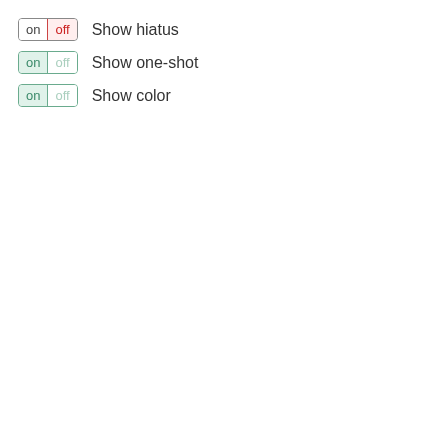on | off  Show hiatus
on | off  Show one-shot
on | off  Show color